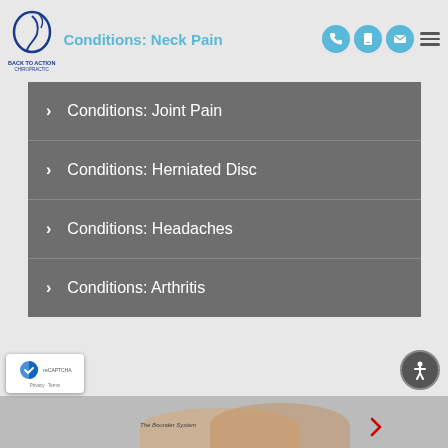Conditions: Neck Pain
Conditions: Joint Pain
Conditions: Herniated Disc
Conditions: Headaches
Conditions: Arthritis